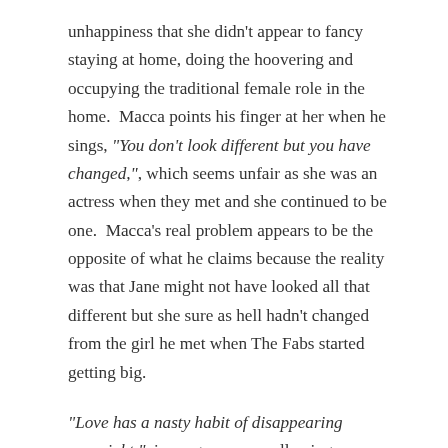unhappiness that she didn't appear to fancy staying at home, doing the hoovering and occupying the traditional female role in the home.  Macca points his finger at her when he sings, "You don't look different but you have changed,", which seems unfair as she was an actress when they met and she continued to be one.  Macca's real problem appears to be the opposite of what he claims because the reality was that Jane might not have looked all that different but she sure as hell hadn't changed from the girl he met when The Fabs started getting big.
"Love has a nasty habit of disappearing overnight," is sung over a swallowing, undulating and attractive melody.  Jane, let's not forget, dumped Macca live on TV in summer 1968 by claiming that he'd broken off their